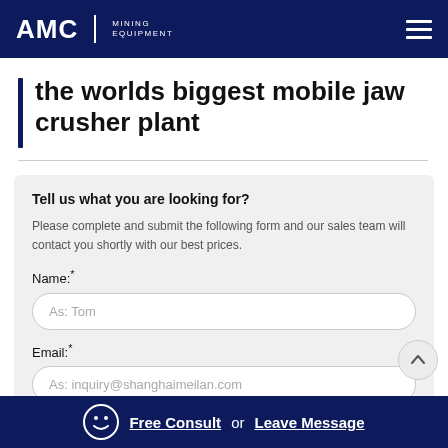AMC MINING EQUIPMENT
the worlds biggest mobile jaw crusher plant
Tell us what you are looking for?
Please complete and submit the following form and our sales team will contact you shortly with our best prices.
Name:*
As: Tom
Email:*
As: inquiry@shanghaimeilan.com
Free Consult or Leave Message